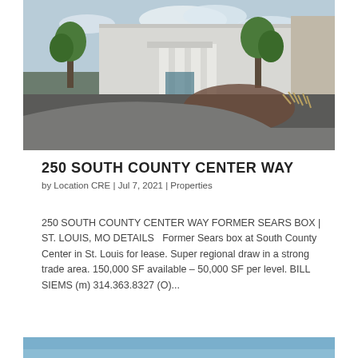[Figure (photo): Exterior photo of 250 South County Center Way, showing a large white commercial building with a curved driveway, trees, and landscaping under a partly cloudy sky.]
250 SOUTH COUNTY CENTER WAY
by Location CRE | Jul 7, 2021 | Properties
250 SOUTH COUNTY CENTER WAY FORMER SEARS BOX | ST. LOUIS, MO DETAILS   Former Sears box at South County Center in St. Louis for lease. Super regional draw in a strong trade area. 150,000 SF available – 50,000 SF per level. BILL SIEMS (m) 314.363.8327 (O)...
[Figure (photo): Bottom strip of a second property photo, partially visible at the bottom of the page.]